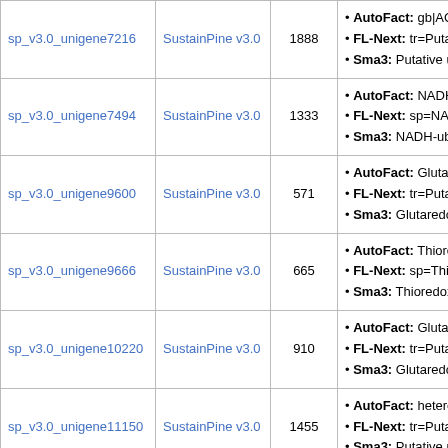| Sequence ID | Library | Length | Annotation |
| --- | --- | --- | --- |
| sp_v3.0_unigene7216 | SustainPine v3.0 | 1888 | • AutoFact: gb|ACG28
• FL-Next: tr=Putative u...
• Sma3: Putative unchar... |
| sp_v3.0_unigene7494 | SustainPine v3.0 | 1333 | • AutoFact: NADH-ubiqu...
• FL-Next: sp=NAD(P)H...
• Sma3: NADH-ubiquino... |
| sp_v3.0_unigene9600 | SustainPine v3.0 | 571 | • AutoFact: Glutaredoxi...
• FL-Next: tr=Putative u...
• Sma3: Glutaredoxin |
| sp_v3.0_unigene9666 | SustainPine v3.0 | 665 | • AutoFact: Thioredoxin...
• FL-Next: sp=Thioredox...
• Sma3: Thioredoxin h |
| sp_v3.0_unigene10220 | SustainPine v3.0 | 910 | • AutoFact: Glutaredoxi...
• FL-Next: tr=Putative u...
• Sma3: Glutaredoxin |
| sp_v3.0_unigene11150 | SustainPine v3.0 | 1455 | • AutoFact: heterotroph...
• FL-Next: tr=Putative u...
• Sma3: Putative unchar... |